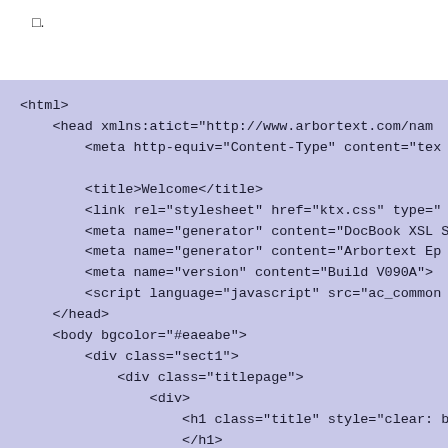□.
<html>
    <head xmlns:atict="http://www.arbortext.com/name
        <meta http-equiv="Content-Type" content="tex

        <title>Welcome</title>
        <link rel="stylesheet" href="ktx.css" type="
        <meta name="generator" content="DocBook XSL S
        <meta name="generator" content="Arbortext Ep:
        <meta name="version" content="Build V090A">
        <script language="javascript" src="ac_common
    </head>
    <body bgcolor="#eaeabe">
        <div class="sect1">
            <div class="titlepage">
                <div>
                    <h1 class="title" style="clear: both
                    </h1>